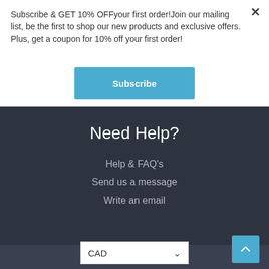Subscribe & GET 10% OFFyour first order!Join our mailing list, be the first to shop our new products and exclusive offers. Plus, get a coupon for 10% off your first order!
Subscribe
Need Help?
Help & FAQ's
Send us a message
Write an email
Copyright © 2022 FrostyFly
CAD